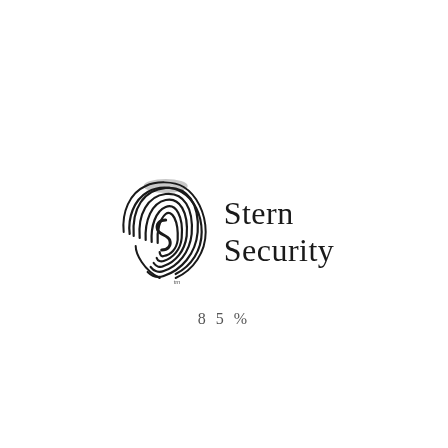[Figure (logo): Stern Security logo: a fingerprint icon with an 'S' letterform inside, rendered in black ink with grey highlights at the top, accompanied by the text 'Stern Security' in serif font to the right]
85%